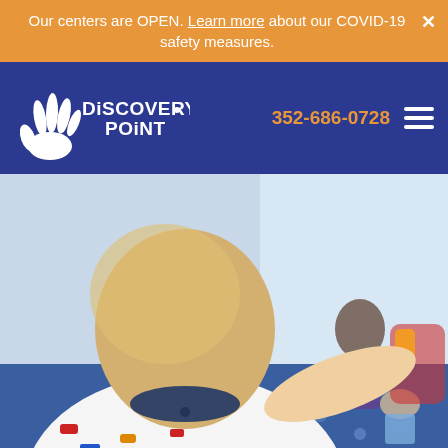Our centers are OPEN. Learn more about our COVID-19 safety measures.
[Figure (logo): Discovery Point logo with hand icon on dark blue navigation bar, phone number 352-686-0728 and hamburger menu]
[Figure (photo): A toddler in a vehicle-print shirt pointing forward in a colorful daycare classroom, with a teacher and other children visible in the background on a blue patterned carpet]